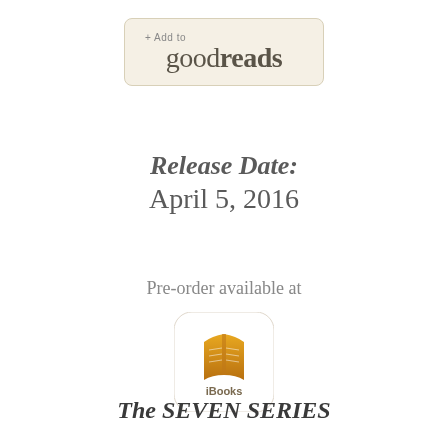[Figure (logo): + Add to goodreads button — beige rounded rectangle with text '+ Add to' above 'goodreads' in serif font]
Release Date:
April 5, 2016
Pre-order available at
[Figure (logo): iBooks app icon — golden/brown open book on white rounded square background with 'iBooks' label below]
The SEVEN SERIES